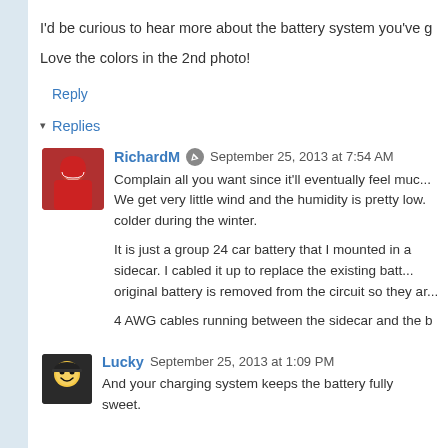I'd be curious to hear more about the battery system you've g
Love the colors in the 2nd photo!
Reply
▾ Replies
RichardM  September 25, 2013 at 7:54 AM
Complain all you want since it'll eventually feel muc... We get very little wind and the humidity is pretty low. colder during the winter.
It is just a group 24 car battery that I mounted in a sidecar. I cabled it up to replace the existing batt... original battery is removed from the circuit so they ar...
4 AWG cables running between the sidecar and the b
Lucky  September 25, 2013 at 1:09 PM
And your charging system keeps the battery fully sweet.